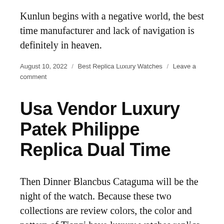Kunlun begins with a negative world, the best time manufacturer and lack of navigation is definitely in heaven.
August 10, 2022 / Best Replica Luxury Watches / Leave a comment
Usa Vendor Luxury Patek Philippe Replica Dual Time
Then Dinner Blancbus Cataguma will be the night of the watch. Because these two collections are review colors, the color and pattern of Tianzi have luxury watches replica